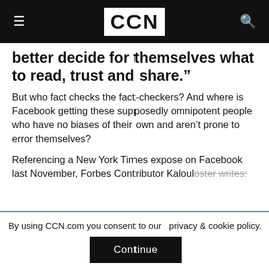CCN
better decide for themselves what to read, trust and share.”
But who fact checks the fact-checkers? And where is Facebook getting these supposedly omnipotent people who have no biases of their own and aren’t prone to error themselves?
Referencing a New York Times expose on Facebook last November, Forbes Contributor Kaloul oster writes:
By using CCN.com you consent to our  privacy & cookie policy.
Continue